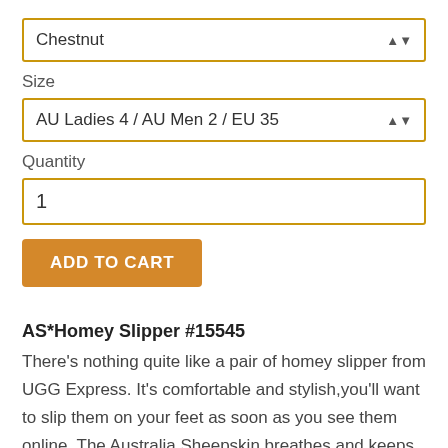Chestnut
Size
AU Ladies 4 / AU Men 2 / EU 35
Quantity
1
ADD TO CART
AS*Homey Slipper #15545
There's nothing quite like a pair of homey slipper from UGG Express. It's comfortable and stylish,you'll want to slip them on your feet as soon as you see them online. The Australia Sheepskin breathes and keeps your feet